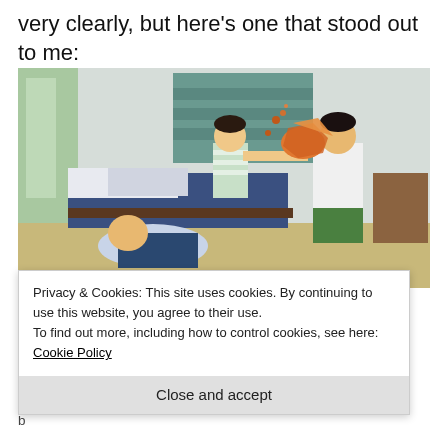very clearly, but here's one that stood out to me:
[Figure (illustration): Anime scene showing two characters in a bedroom. One character (boy in striped shirt) appears to be throwing something orange at the wall, while another larger character kneels nearby. A third character (girl in school uniform) is on the floor.]
Privacy & Cookies: This site uses cookies. By continuing to use this website, you agree to their use.
To find out more, including how to control cookies, see here: Cookie Policy
Close and accept
b